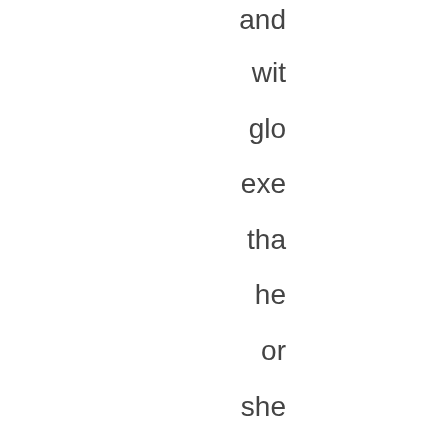and wit glo exe tha he or she con ea be cal the gre on tha me An